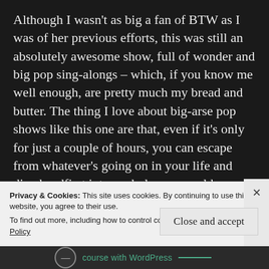Although I wasn't as big a fan of BTW as I was of her previous efforts, this was still an absolutely awesome show, full of wonder and big pop sing-alongs – which, if you know me well enough, are pretty much my bread and butter. The thing I love about big-arse pop shows like this one are that, even if it's only for just a couple of hours, you can escape from whatever's going on in your life and dive headfirst into a whole new world, Aladdin style. Gaga is a great entertainer and someone who can keep up energy levels like few others can. It's truly a sight to see. Put aside your doubts and
Privacy & Cookies: This site uses cookies. By continuing to use this website, you agree to their use.
To find out more, including how to control cookies, see here: Cookie Policy
Close and accept
course with WordPress